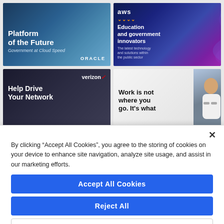[Figure (illustration): Oracle ad: Platform of the Future - Government at Cloud Speed. Dark blue corporate imagery with business silhouettes.]
[Figure (illustration): AWS ad: Education and government innovators. The latest technology and solutions within the public sector. Dark blue/purple with wave graphics and AWS logo.]
[Figure (illustration): Verizon ad: Help Drive Your Network. Dark background with Verizon logo and red checkmark.]
[Figure (illustration): Ad: Work is not where you go. It's what [you do]. Partial view with smiling man in glasses on right side.]
By clicking “Accept All Cookies”, you agree to the storing of cookies on your device to enhance site navigation, analyze site usage, and assist in our marketing efforts.
Accept All Cookies
Reject All
Cookies Settings